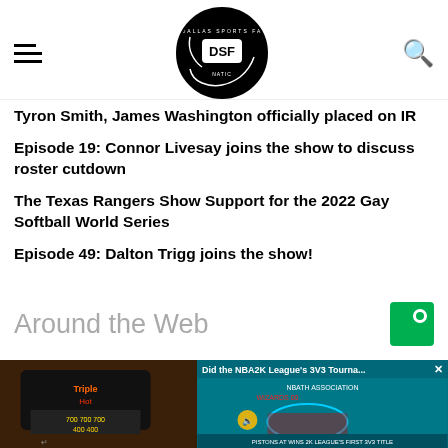Dallas Sports Fanatic (DSF) - navigation header with logo
Tyron Smith, James Washington officially placed on IR
Episode 19: Connor Livesay joins the show to discuss roster cutdown
The Texas Rangers Show Support for the 2022 Gay Softball World Series
Episode 49: Dalton Trigg joins the show!
Around the Web
[Figure (screenshot): Two images side by side: left shows a slot machine (Triple Hot slot), right shows an NBA2K League 3V3 Tournament video overlay with the text 'Did the NBA2K League's 3V3 Tourna...' and game footage.]